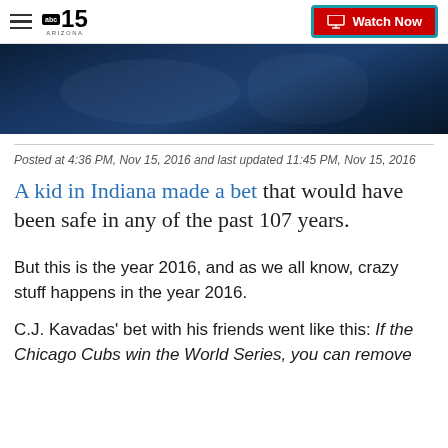abc15 Arizona — Watch Now
[Figure (photo): Dark blue-toned image strip, partially visible at top of article]
Posted at 4:36 PM, Nov 15, 2016 and last updated 11:45 PM, Nov 15, 2016
A kid in Indiana made a bet that would have been safe in any of the past 107 years.
But this is the year 2016, and as we all know, crazy stuff happens in the year 2016.
C.J. Kavadas' bet with his friends went like this: If the Chicago Cubs win the World Series, you can remove